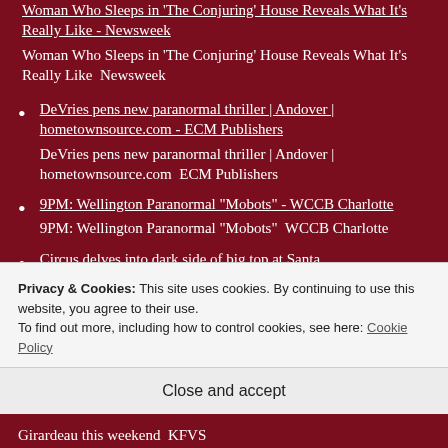Woman Who Sleeps in 'The Conjuring' House Reveals What It's Really Like - Newsweek
Woman Who Sleeps in 'The Conjuring' House Reveals What It's Really Like  Newsweek
DeVries pens new paranormal thriller | Andover | hometownsource.com - ECM Publishers
DeVries pens new paranormal thriller | Andover | hometownsource.com  ECM Publishers
9PM: Wellington Paranormal "Mobots" - WCCB Charlotte
9PM: Wellington Paranormal "Mobots"  WCCB Charlotte
Circus delves into dark side of big top at Santa
Privacy & Cookies: This site uses cookies. By continuing to use this website, you agree to their use.
To find out more, including how to control cookies, see here: Cookie Policy
Close and accept
Girardeau this weekend  KFVS